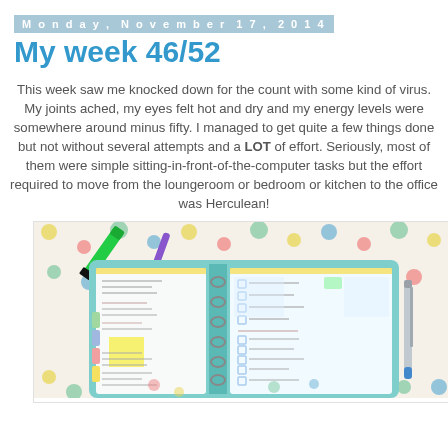Monday, November 17, 2014
My week 46/52
This week saw me knocked down for the count with some kind of virus. My joints ached, my eyes felt hot and dry and my energy levels were somewhere around minus fifty. I managed to get quite a few things done but not without several attempts and a LOT of effort. Seriously, most of them were simple sitting-in-front-of-the-computer tasks but the effort required to move from the loungeroom or bedroom or kitchen to the office was Herculean!
[Figure (photo): A teal/mint coloured ring binder planner opened to show weekly planning pages with handwritten notes, sticky notes, and colored tabs. A green highlighter, purple pen, and blue pen are visible alongside the planner, which sits on a polka dot surface.]